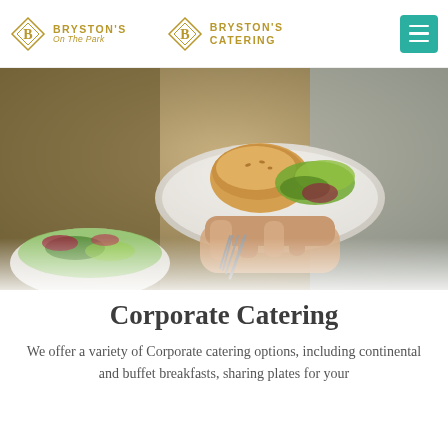BRYSTON'S On The Park | BRYSTON'S CATERING
[Figure (photo): A person holding a white plate with a bread roll and fresh salad greens at a buffet, with a bowl of salad visible in the foreground, blurred background with another person in a tan apron]
Corporate Catering
We offer a variety of Corporate catering options, including continental and buffet breakfasts, sharing plates for your